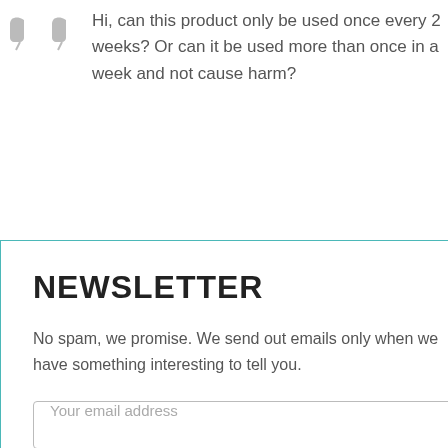Hi, can this product only be used once every 2 weeks? Or can it be used more than once in a week and not cause harm?
2021-01-26 at
very other
ultiple times a
roduct to the
ion with
r Compost
NEWSLETTER
No spam, we promise. We send out emails only when we have something interesting to tell you.
Your email address
Sign up